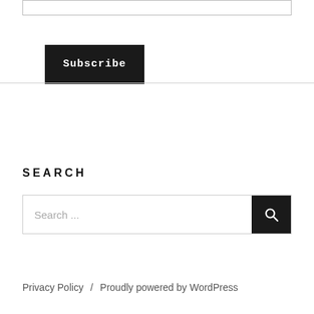[Figure (screenshot): Top input bar (partial, cropped at top of page)]
Subscribe
SEARCH
Search ...
Privacy Policy  /  Proudly powered by WordPress